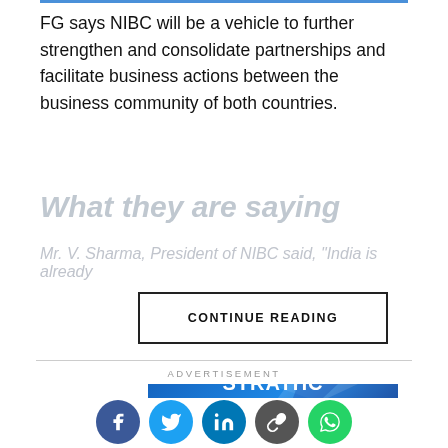FG says NIBC will be a vehicle to further strengthen and consolidate partnerships and facilitate business actions between the business community of both countries.
What they are saying
Mr. V. Sharma, President of NIBC said, "India is already
CONTINUE READING
ADVERTISEMENT
[Figure (photo): Advertisement banner with blue background showing 'STUDY AT STRATHMORE' text with geometric prism shapes]
[Figure (infographic): Social media share buttons: Facebook, Twitter, LinkedIn, Link, WhatsApp]